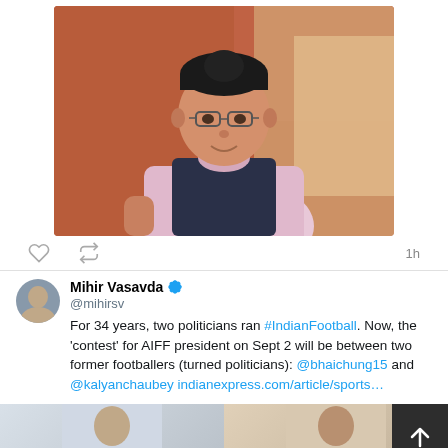[Figure (photo): Photo of a young Asian man wearing glasses, a striped pink shirt and dark vest, standing in front of a reddish-brown tiled wall with a bright background]
❤  ↩  1h
Mihir Vasavda @mihirsv
For 34 years, two politicians ran #IndianFootball. Now, the 'contest' for AIFF president on Sept 2 will be between two former footballers (turned politicians): @bhaichung15 and @kalyanchaubey indianexpress.com/article/sports…
[Figure (photo): Two partial photos of people at the bottom of the tweet, with a dark scroll-to-top button on the right]